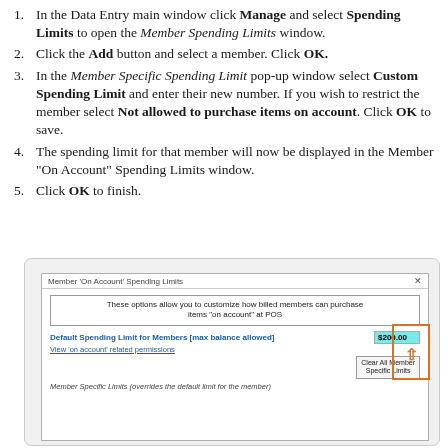In the Data Entry main window click Manage and select Spending Limits to open the Member Spending Limits window.
Click the Add button and select a member. Click OK.
In the Member Specific Spending Limit pop-up window select Custom Spending Limit and enter their new number. If you wish to restrict the member select Not allowed to purchase items on account. Click OK to save.
The spending limit for that member will now be displayed in the Member "On Account" Spending Limits window.
Click OK to finish.
[Figure (screenshot): Screenshot of Member 'On Account' Spending Limits window showing info box, Default Spending Limit field set to $200.00, View 'on account' related permissions link, Clear All Member Specific Limits button, and Member Specific Limits section. An orange box with upward arrow highlights the $200.00 field.]